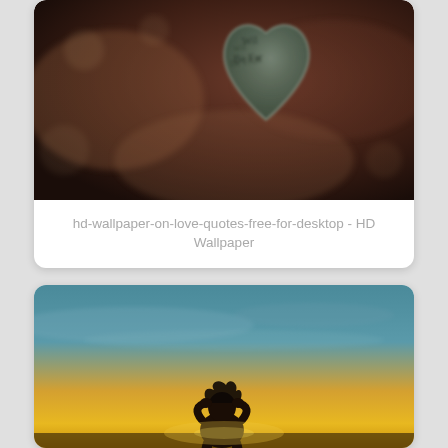[Figure (photo): Blurry close-up photograph of a heart-shaped object with handwritten text 'Will Be Far' on a teal/vintage background with bokeh effect]
hd-wallpaper-on-love-quotes-free-for-desktop - HD Wallpaper
[Figure (photo): Silhouette of a person with head in hands against a dramatic sunset sky with teal upper sky and golden-yellow lower horizon]